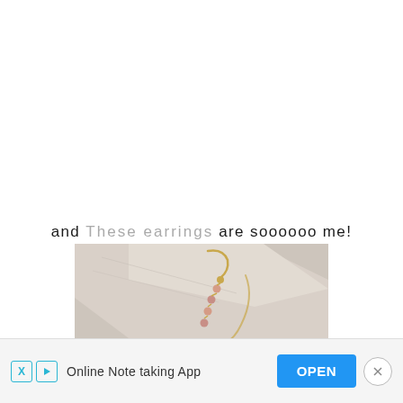and These earrings are soooooo me!
[Figure (photo): Close-up photo of a gold and pink crystal/bead drop earring lying on a light grey stone or concrete surface. The earring has a gold hook and features pink gemstones or beads dangling in a chain.]
Online Note taking App  OPEN  ×